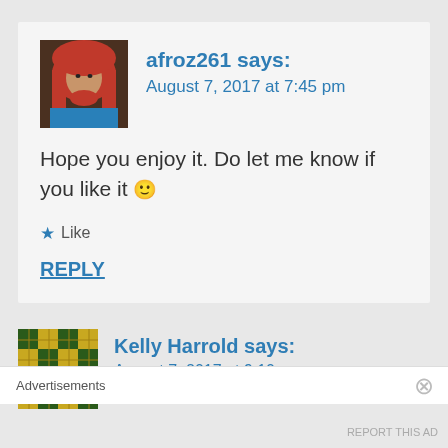[Figure (photo): Avatar photo of afroz261 — woman in red hijab]
afroz261 says:
August 7, 2017 at 7:45 pm
Hope you enjoy it. Do let me know if you like it 🙂
★ Like
REPLY
[Figure (illustration): Avatar icon for Kelly Harrold — gold/yellow mosaic pattern]
Kelly Harrold says:
August 7, 2017 at 9:10 pm
Advertisements
REPORT THIS AD